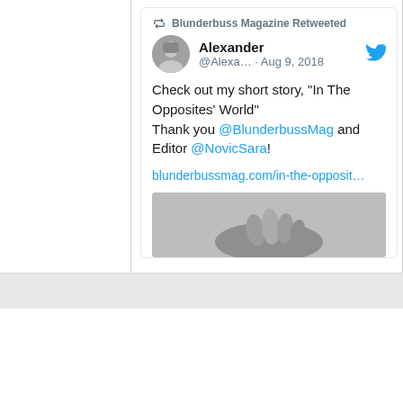[Figure (screenshot): Screenshot of a Twitter/X retweet by Blunderbuss Magazine. Alexander (@Alexa...) posted on Aug 9, 2018: 'Check out my short story, "In The Opposites' World" Thank you @BlunderbussMag and Editor @NovicSara!' with a link blunderbussmag.com/in-the-opposit... and a partial black-and-white image of hands.]
ABOUT
MASTHEAD
We are Blunderbuss Magazine, a web magazine of arts, culture, and politics, an ordnance of fire and improvisation. What ties together these
Editor-in-Chief
Managing –